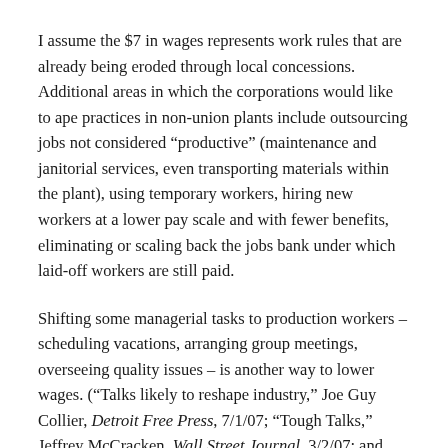I assume the $7 in wages represents work rules that are already being eroded through local concessions. Additional areas in which the corporations would like to ape practices in non-union plants include outsourcing jobs not considered “productive” (maintenance and janitorial services, even transporting materials within the plant), using temporary workers, hiring new workers at a lower pay scale and with fewer benefits, eliminating or scaling back the jobs bank under which laid-off workers are still paid.
Shifting some managerial tasks to production workers – scheduling vacations, arranging group meetings, overseeing quality issues – is another way to lower wages. (“Talks likely to reshape industry,” Joe Guy Collier, Detroit Free Press, 7/1/07; “Tough Talks,” Jeffrey McCracken, Wall Street Journal, 3/2/07; and “Desperate to Curb Costs, Ford Gets Union’s Help,” Jeffrey McCracken, Detroit Free Press, 3/2/07)